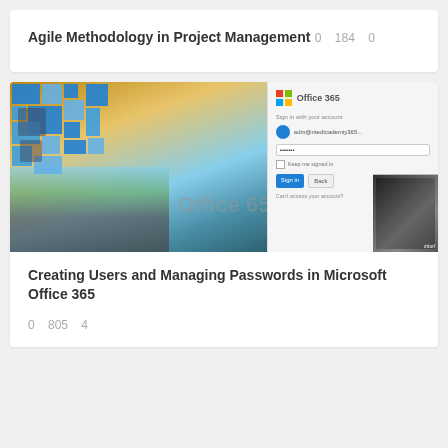Agile Methodology in Project Management
0  184  0
[Figure (screenshot): Composite image showing Microsoft Office 365 login screen overlay on a cityscape/highway photo with blue tile mosaic and a video thumbnail]
Creating Users and Managing Passwords in Microsoft Office 365
0  805  4